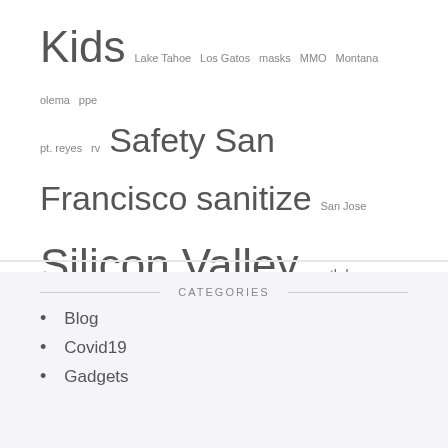Kids Lake Tahoe Los Gatos masks MMO Montana olema ppe pt. reyes rv Safety San Francisco sanitize San Jose Silicon Valley south bay Tainan Taipei Taiwan ThingsILove Travel vanlife Wellness
CATEGORIES
Blog
Covid19
Gadgets